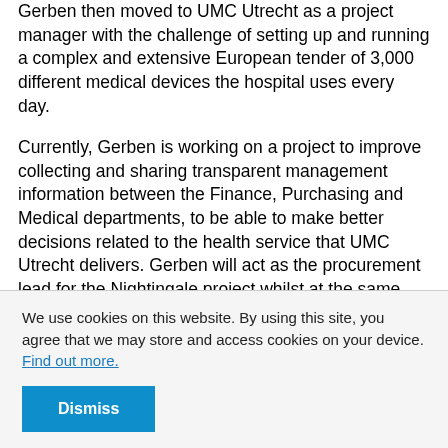Gerben then moved to UMC Utrecht as a project manager with the challenge of setting up and running a complex and extensive European tender of 3,000 different medical devices the hospital uses every day.
Currently, Gerben is working on a project to improve collecting and sharing transparent management information between the Finance, Purchasing and Medical departments, to be able to make better decisions related to the health service that UMC Utrecht delivers. Gerben will act as the procurement lead for the Nightingale project whilst at the same time studying for a Master of Business Administration
We use cookies on this website. By using this site, you agree that we may store and access cookies on your device. Find out more.
Dismiss